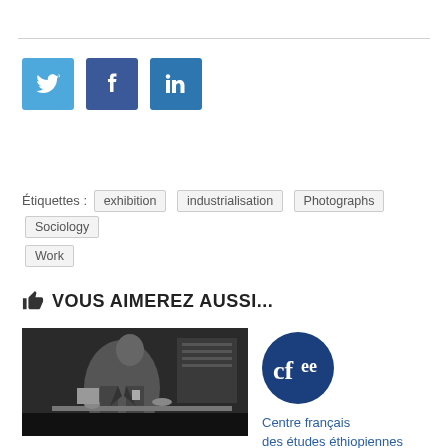[Figure (other): Social media share buttons: Twitter (blue bird icon), Facebook (dark blue f icon), LinkedIn (blue in icon)]
Étiquettes : exhibition industrialisation Photographs Sociology Work
👍 VOUS AIMEREZ AUSSI...
[Figure (photo): Black and white photograph of a man in a suit looking at documents at a table]
[Figure (logo): CFEE - Centre français des études éthiopiennes logo: dark blue circle with cfee text, and title below]